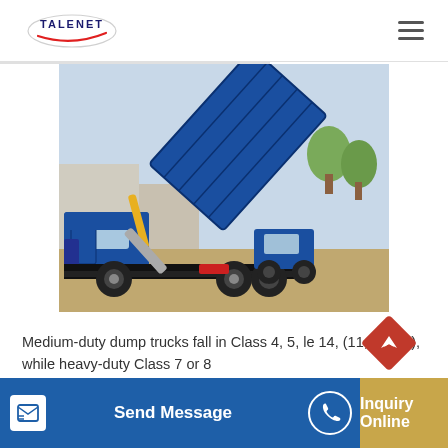TALENET
[Figure (photo): A blue heavy-duty dump truck with its bed raised at a steep angle, photographed outdoors. Multiple trucks visible including one in the foreground and another in the background.]
Medium-duty dump trucks fall in Class 4, 5, le 14, (11,793 kg), while heavy-duty Class 7 or 8
[Figure (other): Send Message button bar with icon, phone icon, and Inquiry Online section in gold/yellow]
[Figure (other): Orange diamond scroll-to-top arrow button]